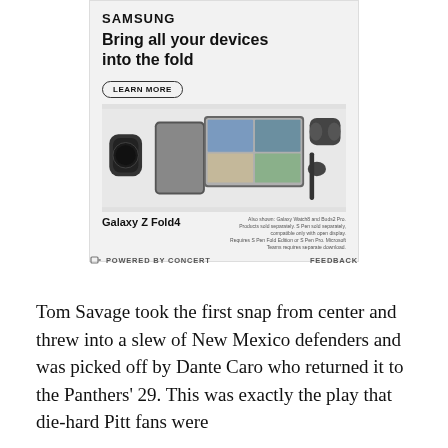[Figure (advertisement): Samsung Galaxy Z Fold4 advertisement showing the device with a video call on screen, along with Galaxy Watch and earbuds. Text reads: SAMSUNG, Bring all your devices into the fold, LEARN MORE, Galaxy Z Fold4. Also shown: Galaxy Watch8 and Buds2 Pro.]
POWERED BY CONCERT    FEEDBACK
Tom Savage took the first snap from center and threw into a slew of New Mexico defenders and was picked off by Dante Caro who returned it to the Panthers' 29. This was exactly the play that die-hard Pitt fans were